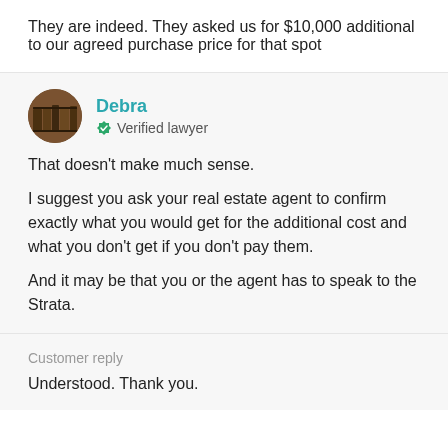They are indeed. They asked us for $10,000 additional to our agreed purchase price for that spot
Debra
Verified lawyer
That doesn't make much sense.
I suggest you ask your real estate agent to confirm exactly what you would get for the additional cost and what you don't get if you don't pay them.
And it may be that you or the agent has to speak to the Strata.
Customer reply
Understood. Thank you.